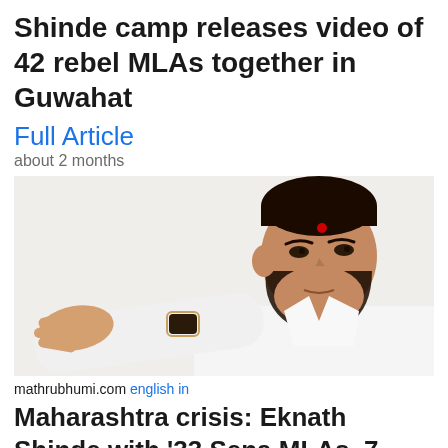Shinde camp releases video of 42 rebel MLAs together in Guwahat
Full Article
about 2 months
[Figure (photo): Photo of Eknath Shinde, a man in a white shirt with a red bindi on his forehead, extending his right hand outward as if gesturing, wearing a watch, against a white background]
mathrubhumi.com english in
Maharashtra crisis: Eknath Shinde with '33 Sena MLAs, 7 Independents'